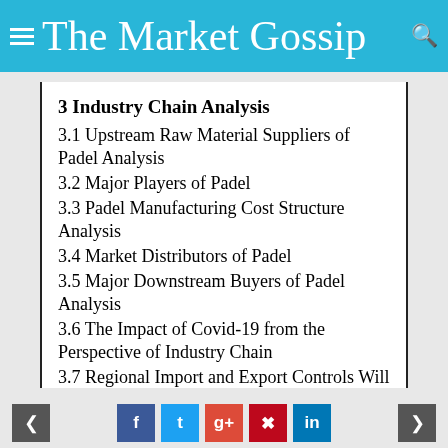The Market Gossip
3 Industry Chain Analysis
3.1 Upstream Raw Material Suppliers of Padel Analysis
3.2 Major Players of Padel
3.3 Padel Manufacturing Cost Structure Analysis
3.4 Market Distributors of Padel
3.5 Major Downstream Buyers of Padel Analysis
3.6 The Impact of Covid-19 from the Perspective of Industry Chain
3.7 Regional Import and Export Controls Will Exist for a Long Time
3.8 Continued downward PMI Spreads Globally